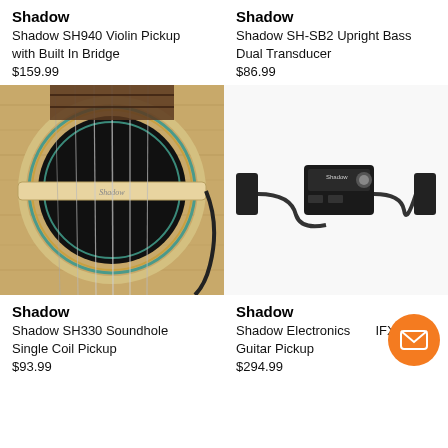Shadow
Shadow SH940 Violin Pickup with Built In Bridge
$159.99
Shadow
Shadow SH-SB2 Upright Bass Dual Transducer
$86.99
[Figure (photo): Close-up photo of a Shadow acoustic guitar soundhole pickup (SH330) mounted on a natural wood guitar, showing the sound hole, strings, and a cable]
[Figure (photo): Photo of Shadow SH-SB2 Upright Bass Dual Transducer - a black electronic device with two sensor arms connected by cables, on white background]
Shadow
Shadow SH330 Soundhole Single Coil Pickup
$93.99
Shadow
Shadow Electronics [IFX Guitar Pickup
$294.99